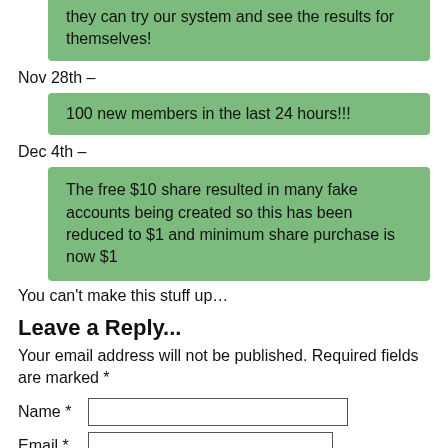they can try our system and see the results for themselves!
Nov 28th –
100 new members in the last 24 hours!!!
Dec 4th –
The free $10 share resulted in many fake accounts being created so this has been reduced to $1 and minimum share purchase is now $1
You can't make this stuff up…
Leave a Reply...
Your email address will not be published. Required fields are marked *
Name *
Email *